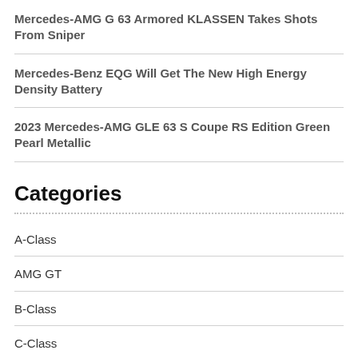Mercedes-AMG G 63 Armored KLASSEN Takes Shots From Sniper
Mercedes-Benz EQG Will Get The New High Energy Density Battery
2023 Mercedes-AMG GLE 63 S Coupe RS Edition Green Pearl Metallic
Categories
A-Class
AMG GT
B-Class
C-Class
Citan
CLA